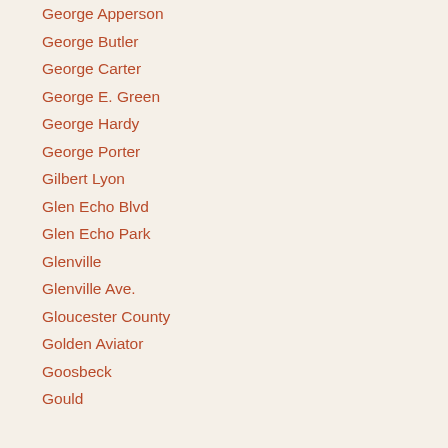George Apperson
George Butler
George Carter
George E. Green
George Hardy
George Porter
Gilbert Lyon
Glen Echo Blvd
Glen Echo Park
Glenville
Glenville Ave.
Gloucester County
Golden Aviator
Goosbeck
Gould